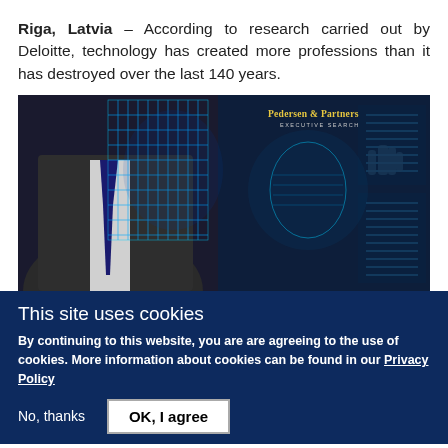Riga, Latvia – According to research carried out by Deloitte, technology has created more professions than it has destroyed over the last 140 years.
[Figure (photo): A business person in a suit with a digital/wireframe overlay of a human figure and futuristic holographic technology interfaces in blue tones. 'Pedersen & Partners Executive Search' logo visible in top right.]
This site uses cookies
By continuing to this website, you are are agreeing to the use of cookies. More information about cookies can be found in our Privacy Policy
No, thanks   OK, I agree